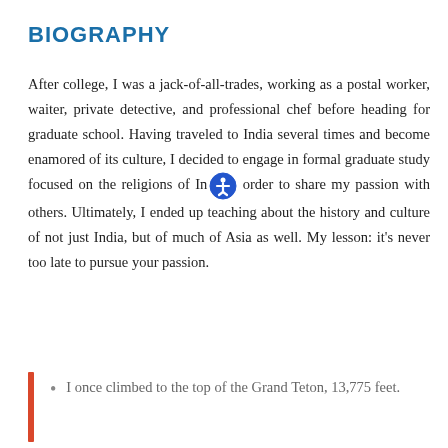BIOGRAPHY
After college, I was a jack-of-all-trades, working as a postal worker, waiter, private detective, and professional chef before heading for graduate school. Having traveled to India several times and become enamored of its culture, I decided to engage in formal graduate study focused on the religions of India in order to share my passion with others. Ultimately, I ended up teaching about the history and culture of not just India, but of much of Asia as well. My lesson: it’s never too late to pursue your passion.
I once climbed to the top of the Grand Teton, 13,775 feet.